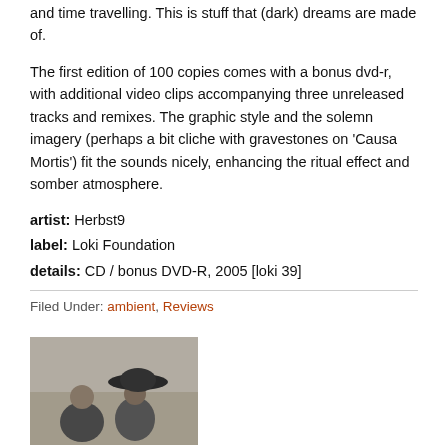and time travelling. This is stuff that (dark) dreams are made of.
The first edition of 100 copies comes with a bonus dvd-r, with additional video clips accompanying three unreleased tracks and remixes. The graphic style and the solemn imagery (perhaps a bit cliche with gravestones on 'Causa Mortis') fit the sounds nicely, enhancing the ritual effect and somber atmosphere.
artist: Herbst9
label: Loki Foundation
details: CD / bonus DVD-R, 2005 [loki 39]
Filed Under: ambient, Reviews
[Figure (photo): Black and white vintage photograph showing two people, one wearing a large wide-brimmed hat]